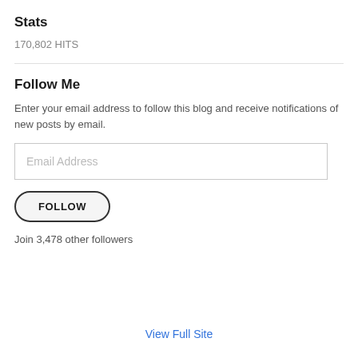Stats
170,802 HITS
Follow Me
Enter your email address to follow this blog and receive notifications of new posts by email.
[Figure (other): Email address input field with placeholder text 'Email Address']
[Figure (other): FOLLOW button with rounded border]
Join 3,478 other followers
View Full Site